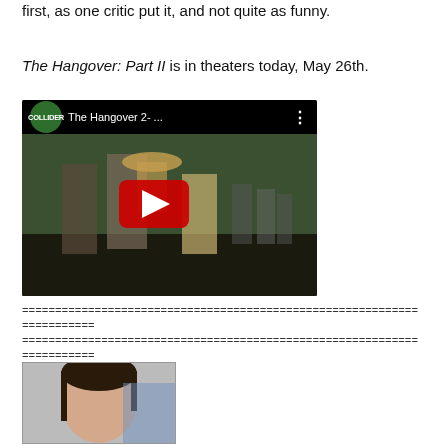first, as one critic put it, and not quite as funny.
The Hangover: Part II is in theaters today, May 26th.
[Figure (screenshot): YouTube video thumbnail for 'The Hangover 2-...' from Collider, showing a scene with people in a market, with a red play button overlay.]
============================================================ =========== ============================================================ ===========
[Figure (photo): Small avatar photo of a woman with dark hair.]